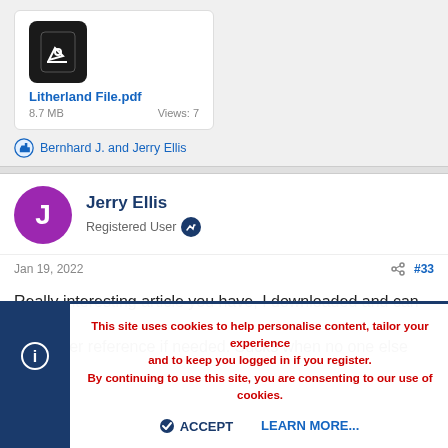[Figure (other): File attachment card showing a PDF file icon with pencil symbol, filename 'Litherland File.pdf', size '8.7 MB', and 'Views: 7']
Litherland File.pdf
8.7 MB    Views: 7
Bernhard J. and Jerry Ellis
[Figure (other): User avatar: purple circle with white letter J, for Jerry Ellis]
Jerry Ellis
Registered User
Jan 19, 2022    #33
Really interesting article you have, I downloaded and can keep for further reference if needed. Sucks when no one else can...
This site uses cookies to help personalise content, tailor your experience and to keep you logged in if you register.
By continuing to use this site, you are consenting to our use of cookies.
ACCEPT   LEARN MORE...